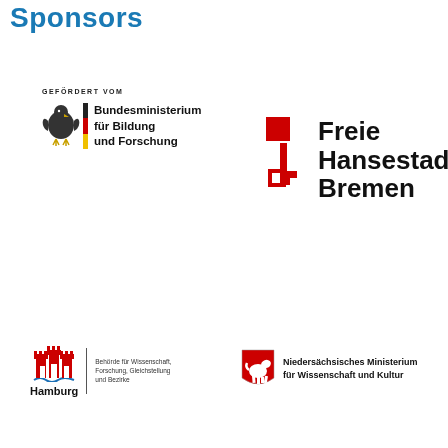Sponsors
[Figure (logo): Bundesministerium für Bildung und Forschung logo with German eagle and German flag stripe, text 'GEFÖRDERT VOM' above]
[Figure (logo): Freie Hansestadt Bremen logo with red key symbol]
[Figure (logo): Hamburg Behörde für Wissenschaft, Forschung, Gleichstellung und Bezirke logo with red city gate icon]
[Figure (logo): Niedersächsisches Ministerium für Wissenschaft und Kultur logo with Lower Saxony horse shield]